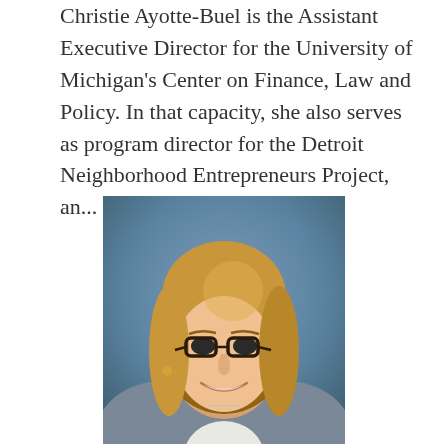Christie Ayotte-Buel is the Assistant Executive Director for the University of Michigan's Center on Finance, Law and Policy. In that capacity, she also serves as program director for the Detroit Neighborhood Entrepreneurs Project, an...
[Figure (photo): Professional headshot of Christie Ayotte-Buel, a woman with shoulder-length blonde hair wearing glasses and a gray blazer over a white top, smiling against a blue-gray background.]